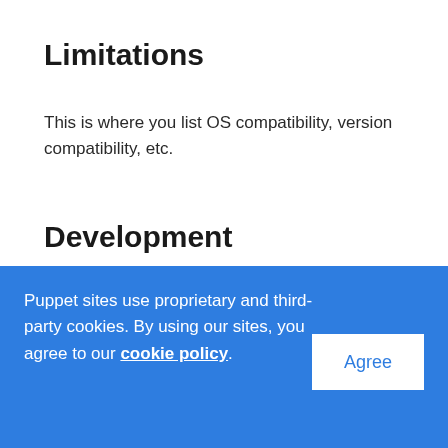Limitations
This is where you list OS compatibility, version compatibility, etc.
Development
Since your module is awesome, other users will want to play with it. Let them know what the ground rules for contribution...
Puppet sites use proprietary and third-party cookies. By using our sites, you agree to our cookie policy.